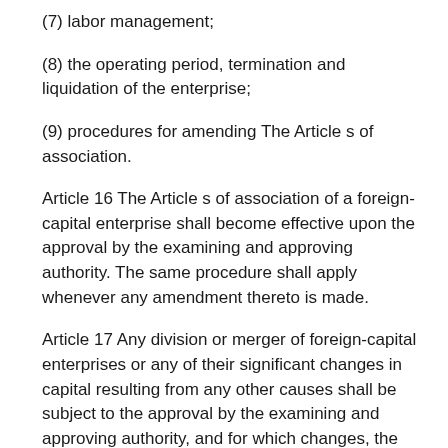(7) labor management;
(8) the operating period, termination and liquidation of the enterprise;
(9) procedures for amending The Article s of association.
Article 16 The Article s of association of a foreign-capital enterprise shall become effective upon the approval by the examining and approving authority. The same procedure shall apply whenever any amendment thereto is made.
Article 17 Any division or merger of foreign-capital enterprises or any of their significant changes in capital resulting from any other causes shall be subject to the approval by the examining and approving authority, and for which changes, the relevant enterprises shall engage a Chinese certified